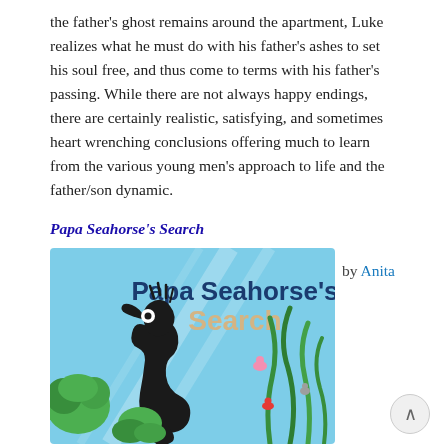the father's ghost remains around the apartment, Luke realizes what he must do with his father's ashes to set his soul free, and thus come to terms with his father's passing. While there are not always happy endings, there are certainly realistic, satisfying, and sometimes heart wrenching conclusions offering much to learn from the various young men's approach to life and the father/son dynamic.
Papa Seahorse's Search
by Anita
[Figure (illustration): Book cover of 'Papa Seahorse's Search' featuring a cartoon black seahorse with a crown-like crest and a white eye, set against a light blue underwater background with green seaweed and coral. The title 'Papa Seahorse's Search' is displayed in large text, with 'Papa Seahorse's' in dark blue and 'Search' in light tan/cream. Small colorful sea creatures are visible in the seaweed.]